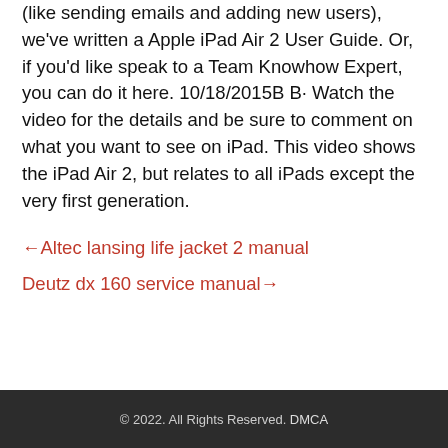(like sending emails and adding new users), we've written a Apple iPad Air 2 User Guide. Or, if you'd like speak to a Team Knowhow Expert, you can do it here. 10/18/2015B B· Watch the video for the details and be sure to comment on what you want to see on iPad. This video shows the iPad Air 2, but relates to all iPads except the very first generation.
←Altec lansing life jacket 2 manual
Deutz dx 160 service manual→
© 2022. All Rights Reserved. DMCA